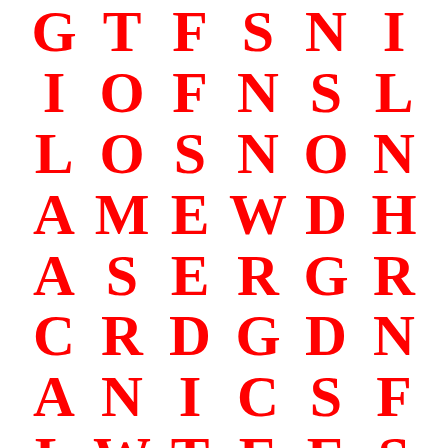G T F S N I
I O F N S L
L O S N O N
A M E W D H
A S E R G R
C R D G D N
A N I C S F
L W T E E S